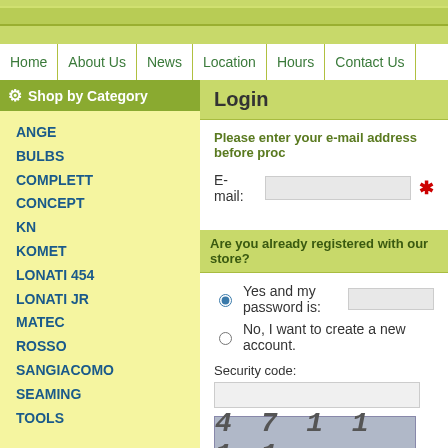Top banner with green gradient bar
Home
About Us
News
Location
Hours
Contact Us
Shop by Category
ANGE
BULBS
COMPLETT
CONCEPT
KN
KOMET
LONATI 454
LONATI JR
MATEC
ROSSO
SANGIACOMO
SEAMING
TOOLS
Custom Machine Shop!
We are excited to offer a complete, full service custom machine shop that is capable of manufacturing
Login
Please enter your e-mail address before proc
E-mail: [input] *
Are you already registered with our store?
Yes and my password is: [input]
No, I want to create a new account.
Security code:
[Figure (other): CAPTCHA image showing digits: 4 7 1 1 1 1]